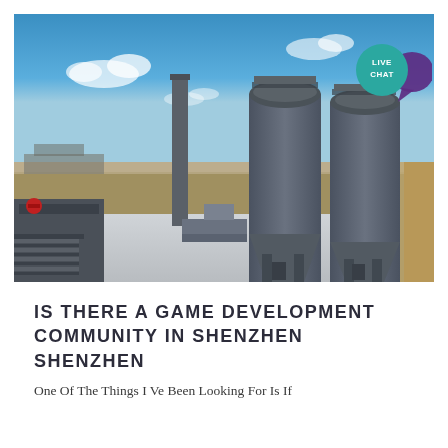[Figure (photo): Aerial/elevated view of an industrial facility with two large gray silos, a chimney, and ground-level structures including concrete pads and equipment. Clear blue sky with scattered clouds in the background. Flat arid terrain visible in the distance.]
IS THERE A GAME DEVELOPMENT COMMUNITY IN SHENZHEN SHENZHEN
One Of The Things I Ve Been Looking For Is If